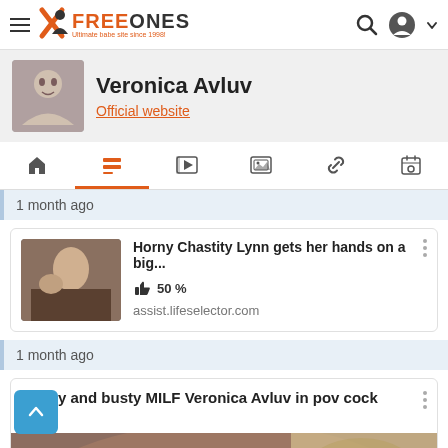FREEONES - Ultimate babe site since 1998!
Veronica Avluv
Official website
1 month ago
Horny Chastity Lynn gets her hands on a big... 50 % assist.lifeselector.com
1 month ago
Horny and busty MILF Veronica Avluv in pov cock gag